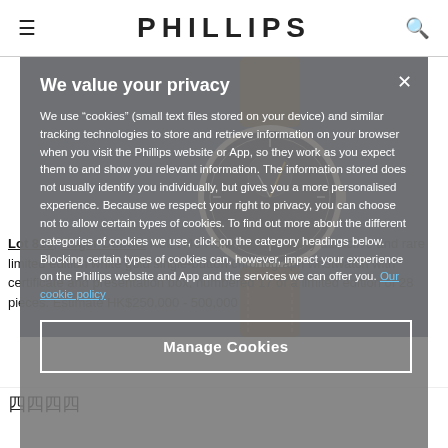PHILLIPS
[Figure (photo): Watch auction listing photo showing a Patek Philippe chronograph wristwatch with dark dial on brown leather strap against dark blue background, partially obscured by cookie consent overlay]
We value your privacy
We use “cookies” (small text files stored on your device) and similar tracking technologies to store and retrieve information on your browser when you visit the Phillips website or App, so they work as you expect them to and show you relevant information. The information stored does not usually identify you individually, but gives you a more personalised experience. Because we respect your right to privacy, you can choose not to allow certain types of cookies. To find out more about the different categories of cookies we use, click on the category headings below. Blocking certain types of cookies can, however, impact your experience on the Phillips website and App and the services we can offer you. Our cookie policy
Manage Cookies
Lot 810; Roger Dubuis Ref. H40 Hommage. A highly attractive and rare limited edition white gold single-button chronograph wristwatch with certificate and presentation box, numbered 17 of a limited edition of 28 pieces. Estimate HK$250,000 - 500,000
    